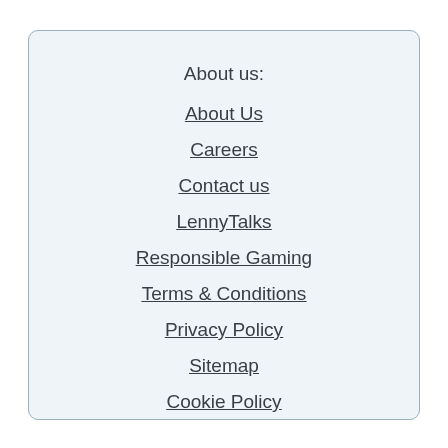About us:
About Us
Careers
Contact us
LennyTalks
Responsible Gaming
Terms & Conditions
Privacy Policy
Sitemap
Cookie Policy